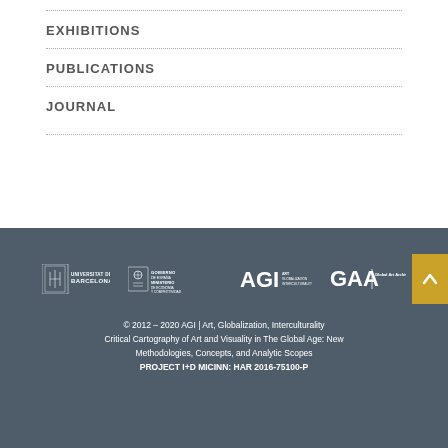EXHIBITIONS
PUBLICATIONS
JOURNAL
[Figure (logo): Footer logos: Universitat de Barcelona, Gobierno de España / Ministerio de Economía y Competitividad, AGI Art Globalization Interculturality, GAA Global Art Archive]
© 2012 – 2020 AGI | Art, Globalization, Interculturality Critical Cartography of Art and Visuality in The Global Age: New Methodologies, Concepts, and Analytic Scopes PROJECT I+D MICINN: HAR 2016-75100-P